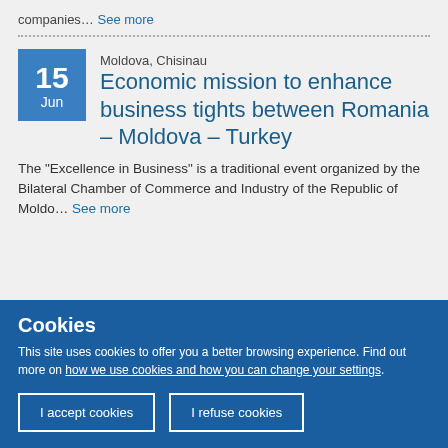companies… See more
Moldova, Chisinau
Economic mission to enhance business tights between Romania – Moldova – Turkey
The “Excellence in Business” is a traditional event organized by the Bilateral Chamber of Commerce and Industry of the Republic of Moldo… See more
Cookies
This site uses cookies to offer you a better browsing experience. Find out more on how we use cookies and how you can change your settings.
I accept cookies
I refuse cookies